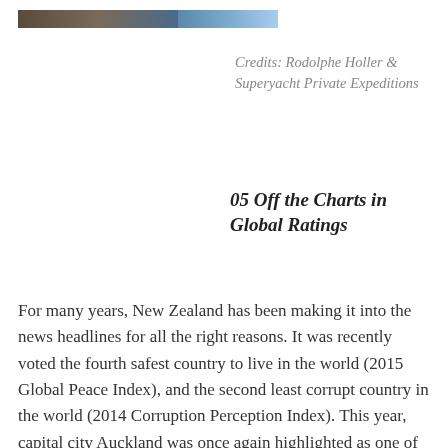[Figure (photo): A cropped top image bar showing a partial landscape or seascape photo in two segments]
Credits: Rodolphe Holler & Superyacht Private Expeditions
05 Off the Charts in Global Ratings
For many years, New Zealand has been making it into the news headlines for all the right reasons. It was recently voted the fourth safest country to live in the world (2015 Global Peace Index), and the second least corrupt country in the world (2014 Corruption Perception Index). This year, capital city Auckland was once again highlighted as one of the best cities to live in the world (placed third,